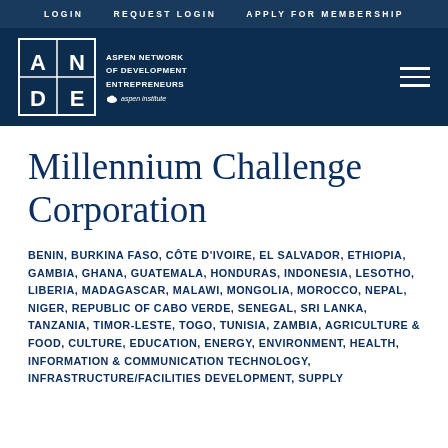LOGIN   REQUEST LOGIN   APPLY FOR MEMBERSHIP
[Figure (logo): ANDE – Aspen Network of Development Entrepreneurs logo with Aspen Institute branding, white on dark navy background]
Millennium Challenge Corporation
BENIN, BURKINA FASO, CÔTE D'IVOIRE, EL SALVADOR, ETHIOPIA, GAMBIA, GHANA, GUATEMALA, HONDURAS, INDONESIA, LESOTHO, LIBERIA, MADAGASCAR, MALAWI, MONGOLIA, MOROCCO, NEPAL, NIGER, REPUBLIC OF CABO VERDE, SENEGAL, SRI LANKA, TANZANIA, TIMOR-LESTE, TOGO, TUNISIA, ZAMBIA, AGRICULTURE & FOOD, CULTURE, EDUCATION, ENERGY, ENVIRONMENT, HEALTH, INFORMATION & COMMUNICATION TECHNOLOGY, INFRASTRUCTURE/FACILITIES DEVELOPMENT, SUPPLY